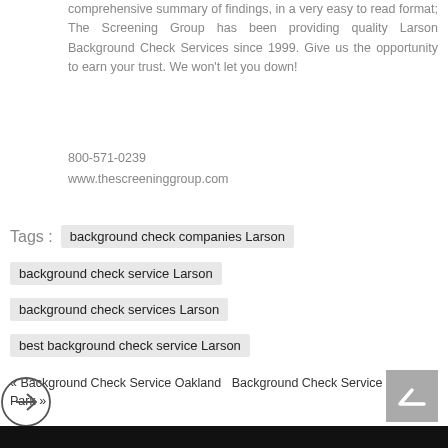comprehensive summary of findings, in a very easy to read format; The Screening Group has been providing quality Larson Background Check Services since 1999. Give us the opportunity to earn your trust. We won't let you down!
800-571-0239
www.thescreeninggroup.com
Tags : background check companies Larson
background check service Larson
background check services Larson
best background check service Larson
« Background Check Service Oakland  Background Check Service Oakland Park »